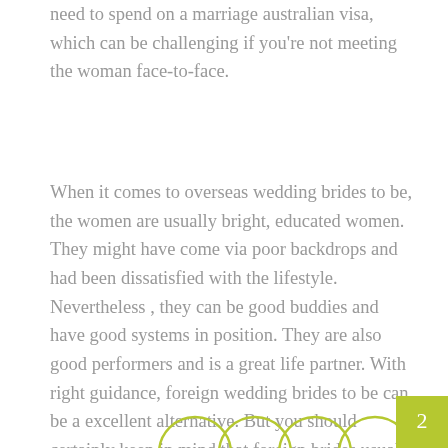need to spend on a marriage australian visa, which can be challenging if you're not meeting the woman face-to-face.
When it comes to overseas wedding brides to be, the women are usually bright, educated women. They might have come via poor backdrops and had been dissatisfied with the lifestyle. Nevertheless , they can be good buddies and have good systems in position. They are also good performers and is a great life partner. With right guidance, foreign wedding brides to be can be a excellent alternative. But you should certainly keep in mind that foreign brides usually are not necessarily easy to meet.
[Figure (illustration): Partial view of circular avatar icons at the bottom of the page, with a green square in the bottom-right corner.]